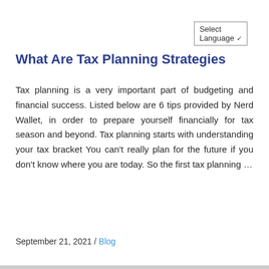Select Language
What Are Tax Planning Strategies
Tax planning is a very important part of budgeting and financial success. Listed below are 6 tips provided by Nerd Wallet, in order to prepare yourself financially for tax season and beyond. Tax planning starts with understanding your tax bracket You can't really plan for the future if you don't know where you are today. So the first tax planning …
READ MORE
September 21, 2021 / Blog